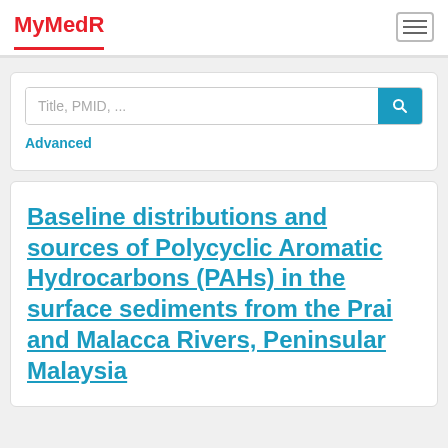MyMedR
Title, PMID, ...
Advanced
Baseline distributions and sources of Polycyclic Aromatic Hydrocarbons (PAHs) in the surface sediments from the Prai and Malacca Rivers, Peninsular Malaysia